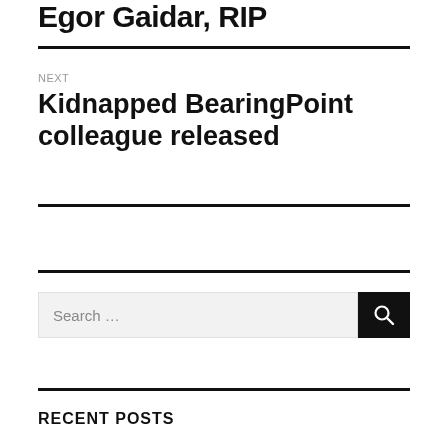Egor Gaidar, RIP
NEXT
Kidnapped BearingPoint colleague released
Search ...
RECENT POSTS